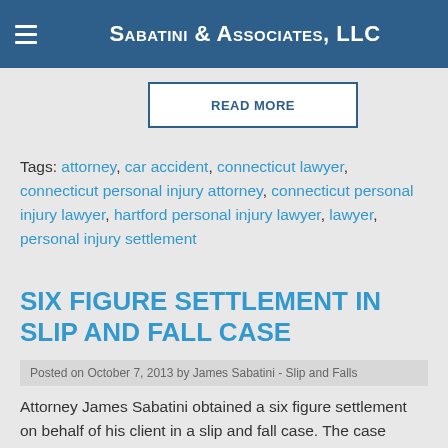Sabatini & Associates, LLC
READ MORE
Tags: attorney, car accident, connecticut lawyer, connecticut personal injury attorney, connecticut personal injury lawyer, hartford personal injury lawyer, lawyer, personal injury settlement
SIX FIGURE SETTLEMENT IN SLIP AND FALL CASE
Posted on October 7, 2013 by James Sabatini - Slip and Falls
Attorney James Sabatini obtained a six figure settlement on behalf of his client in a slip and fall case.  The case involved a big box store located in Connecticut.  Our client was